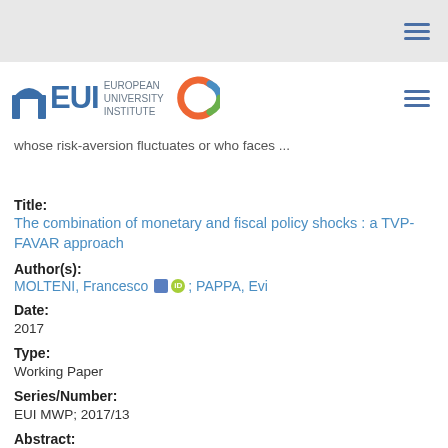[Figure (logo): EUI European University Institute logo with arch symbol and colourful C logo]
whose risk-aversion fluctuates or who faces ...
Title: The combination of monetary and fiscal policy shocks : a TVP-FAVAR approach
Author(s): MOLTENI, Francesco; PAPPA, Evi
Date: 2017
Type: Working Paper
Series/Number: EUI MWP; 2017/13
Abstract: This paper analyzes jointly the effects of monetary and fiscal policy shocks in the US economy using a factor augmented vector